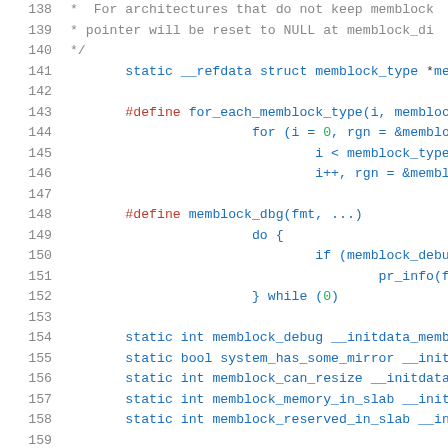[Figure (screenshot): Source code listing showing C code lines 138-158, with syntax highlighting: line numbers in gray, keywords in blue, preprocessor directives in red, numeric literals in green, on white background. Code is from a Linux kernel memblock allocator file.]